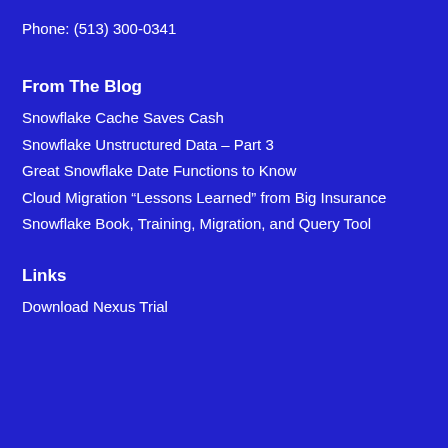Phone: (513) 300-0341
From The Blog
Snowflake Cache Saves Cash
Snowflake Unstructured Data – Part 3
Great Snowflake Date Functions to Know
Cloud Migration “Lessons Learned” from Big Insurance
Snowflake Book, Training, Migration, and Query Tool
Links
Download Nexus Trial